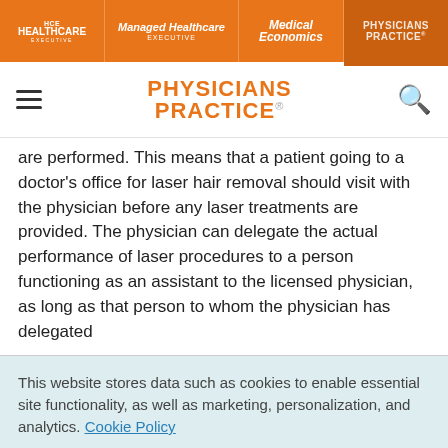HCE HEALTHCARE EXECUTIVE | Managed Healthcare EXECUTIVE | Medical Economics | PHYSICIANS PRACTICE
[Figure (logo): Physicians Practice site header logo with hamburger menu and search icon]
are performed. This means that a patient going to a doctor's office for laser hair removal should visit with the physician before any laser treatments are provided. The physician can delegate the actual performance of laser procedures to a person functioning as an assistant to the licensed physician, as long as that person to whom the physician has delegated
This website stores data such as cookies to enable essential site functionality, as well as marketing, personalization, and analytics. Cookie Policy
Accept
Deny